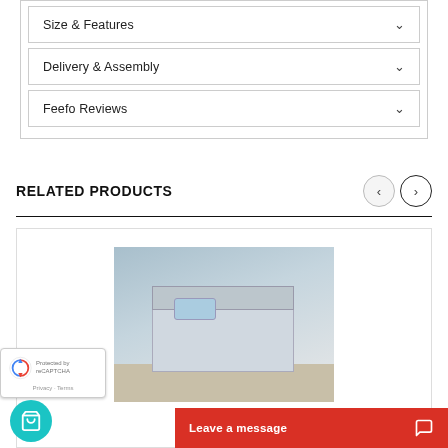Size & Features
Delivery & Assembly
Feefo Reviews
RELATED PRODUCTS
[Figure (photo): Bedroom scene showing a bed with grey frame and headboard, blue-themed decor, light blue teal pillow on floor, in a room with blue walls and framed art on the wall.]
Leave a message